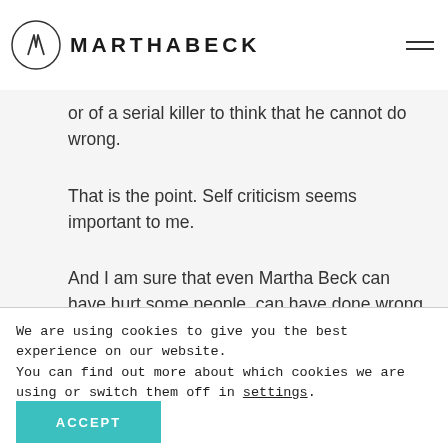[Figure (logo): Martha Beck logo with circular icon and text MARTHABECK]
or of a serial killer to think that he cannot do wrong.
That is the point. Self criticism seems important to me.
And I am sure that even Martha Beck can have hurt some people, can have done wrong on some aspects, because we can all be wrong and do wrong, it is
We are using cookies to give you the best experience on our website.
You can find out more about which cookies we are using or switch them off in settings.
ACCEPT